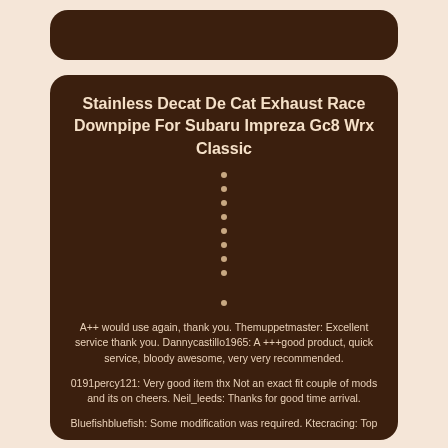Stainless Decat De Cat Exhaust Race Downpipe For Subaru Impreza Gc8 Wrx Classic
•
•
•
•
•
•
•
•
•
A++ would use again, thank you. Themuppetmaster: Excellent service thank you. Dannycastillo1965: A +++good product, quick service, bloody awesome, very very recommended.
0191percy121: Very good item thx Not an exact fit couple of mods and its on cheers. Neil_leeds: Thanks for good time arrival.
Bluefishbluefish: Some modification was required. Ktecracing: Top